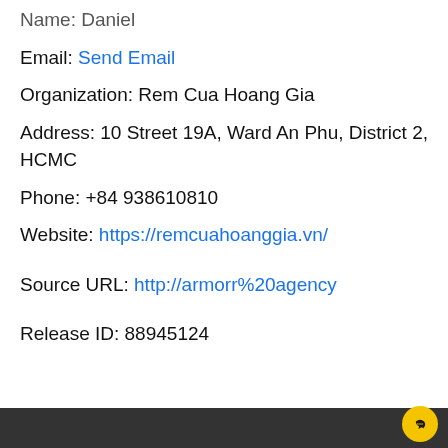Name: Daniel
Email: Send Email
Organization: Rem Cua Hoang Gia
Address: 10 Street 19A, Ward An Phu, District 2, HCMC
Phone: +84 938610810
Website: https://remcuahoanggia.vn/
Source URL: http://armorr%20agency
Release ID: 88945124